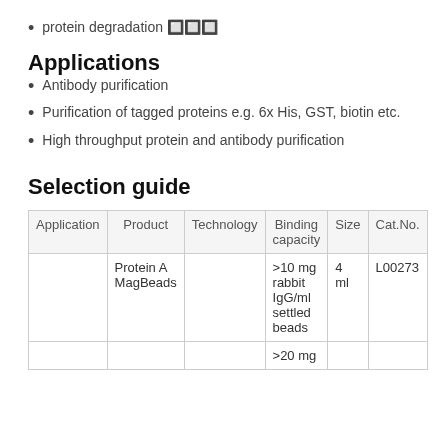protein degradation 🔲🔲🔲
Applications
Antibody purification
Purification of tagged proteins e.g. 6x His, GST, biotin etc.
High throughput protein and antibody purification
Selection guide
| Application | Product | Technology | Binding capacity | Size | Cat.No. |
| --- | --- | --- | --- | --- | --- |
|  | Protein A MagBeads |  | >10 mg rabbit IgG/ml settled beads | 4 ml | L00273 |
|  |  |  | >20 mg |  |  |